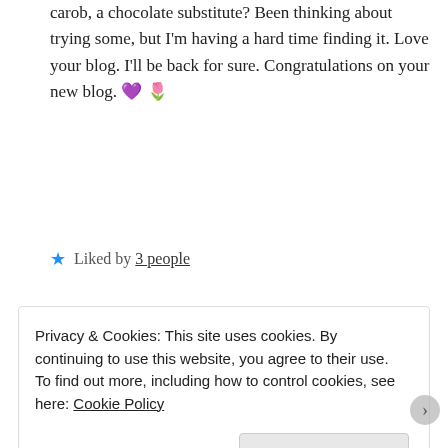carob, a chocolate substitute? Been thinking about trying some, but I'm having a hard time finding it. Love your blog. I'll be back for sure. Congratulations on your new blog. 💜 🌷
★ Liked by 3 people
Reply
Chocoviv says:
July 29, 2019 at 7:53 pm
Privacy & Cookies: This site uses cookies. By continuing to use this website, you agree to their use.
To find out more, including how to control cookies, see here: Cookie Policy
Close and accept